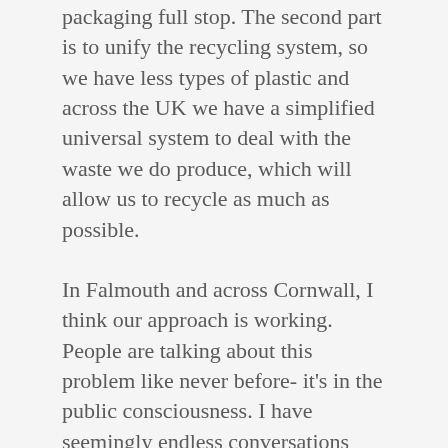packaging full stop. The second part is to unify the recycling system, so we have less types of plastic and across the UK we have a simplified universal system to deal with the waste we do produce, which will allow us to recycle as much as possible.
In Falmouth and across Cornwall, I think our approach is working. People are talking about this problem like never before- it's in the public consciousness. I have seemingly endless conversations everyday with such diverse members of our community, about the action they are taking, what they want to achieve and asking for help to do so.
The message is getting out there and we are winning the battle of engagement and education.
Ultimately, we have to keep pushing for change on a national level via government and the major supermarkets,